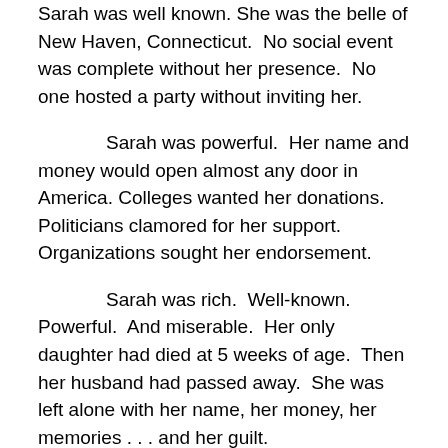Sarah was well known. She was the belle of New Haven, Connecticut. No social event was complete without her presence. No one hosted a party without inviting her.
Sarah was powerful. Her name and money would open almost any door in America. Colleges wanted her donations. Politicians clamored for her support. Organizations sought her endorsement.
Sarah was rich. Well-known. Powerful. And miserable. Her only daughter had died at 5 weeks of age. Then her husband had passed away. She was left alone with her name, her money, her memories . . . and her guilt.
It was her guilt that caused her to move west. A passion for penance drove her to San Jose, California. Her yesterdays imprisoned her todays, and she yearned for freedom. She bought an 8-room farmhouse plus 160...